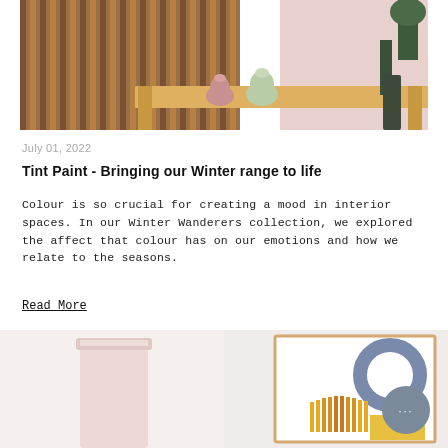[Figure (photo): Interior photo showing a wooden sideboard with vertical slats, a light wood dining table, two ceramic vases (pink and light green), pink wall background, and a dark green plant in the corner]
July 01, 2022
Tint Paint - Bringing our Winter range to life
Colour is so crucial for creating a mood in interior spaces. In our Winter Wanderers collection, we explored the affect that colour has on our emotions and how we relate to the seasons.
Read More
[Figure (photo): Bottom section showing two product images: left is a pink paint can/cylinder, right is a framed artwork with geometric shapes in grey, yellow and orange, with a chat widget bubble overlay]